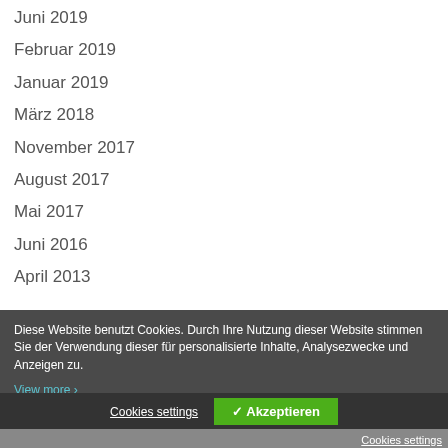Juni 2019
Februar 2019
Januar 2019
März 2018
November 2017
August 2017
Mai 2017
Juni 2016
April 2013
Diese Website benutzt Cookies. Durch Ihre Nutzung dieser Website stimmen Sie der Verwendung dieser für personalisierte Inhalte, Analysezwecke und Anzeigen zu. View more
Cookies settings  ✓ Akzeptieren
Cookies settings